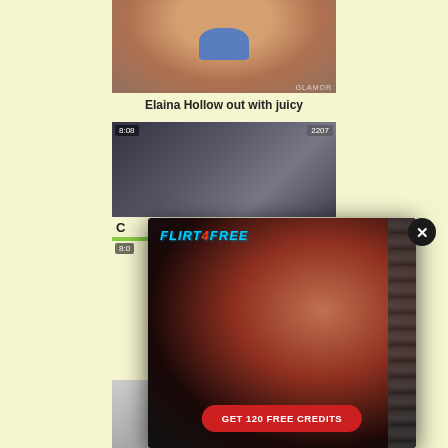[Figure (photo): Cropped photo of person in blue bikini bottom, warm skin tones, with watermark text in bottom right]
Elaina Hollow out with juicy
[Figure (photo): Video thumbnail showing two people outdoors near chain-link fence, time badge 8:08, view count 2207]
C
8:0
[Figure (photo): Flirt4Free advertisement popup showing a woman in red lingerie with logo and CTA button 'GET 120 FREE CREDITS']
FLIRT4FREE
GET 120 FREE CREDITS